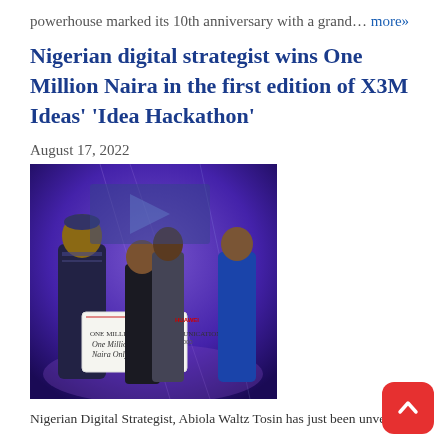powerhouse marked its 10th anniversary with a grand... more»
Nigerian digital strategist wins One Million Naira in the first edition of X3M Ideas' 'Idea Hackathon'
August 17, 2022
[Figure (photo): Group of people on stage holding a large ceremonial cheque reading 'One Million Naira Only' at the X3M Ideas Idea Hackathon event]
Nigerian Digital Strategist, Abiola Waltz Tosin has just been unveiled